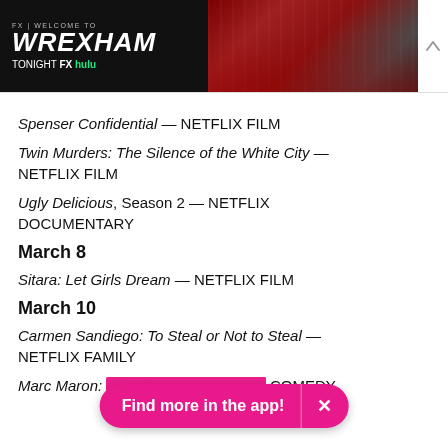[Figure (advertisement): Welcome to Wrexham FX TV show advertisement banner with team photo, 'TONIGHT FX hulu' text]
Spenser Confidential — NETFLIX FILM
Twin Murders: The Silence of the White City — NETFLIX FILM
Ugly Delicious, Season 2 — NETFLIX DOCUMENTARY
March 8
Sitara: Let Girls Dream — NETFLIX FILM
March 10
Carmen Sandiego: To Steal or Not to Steal — NETFLIX FAMILY
Marc Maron: [partially obscured] COMEDY
[Figure (other): Pink pill-shaped app download button reading 'Find more in the app!' with X close button]